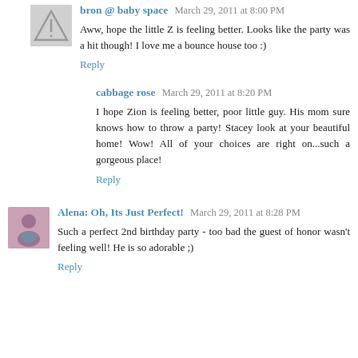bron @ baby space March 29, 2011 at 8:00 PM
Aww, hope the little Z is feeling better. Looks like the party was a hit though! I love me a bounce house too :)
Reply
cabbage rose March 29, 2011 at 8:20 PM
I hope Zion is feeling better, poor little guy. His mom sure knows how to throw a party! Stacey look at your beautiful home! Wow! All of your choices are right on...such a gorgeous place!
Reply
Alena: Oh, Its Just Perfect! March 29, 2011 at 8:28 PM
Such a perfect 2nd birthday party - too bad the guest of honor wasn't feeling well! He is so adorable ;)
Reply